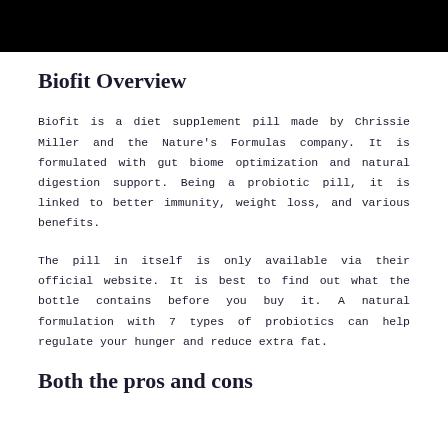[Figure (photo): Black banner/header image at top of page]
Biofit Overview
Biofit is a diet supplement pill made by Chrissie Miller and the Nature's Formulas company. It is formulated with gut biome optimization and natural digestion support. Being a probiotic pill, it is linked to better immunity, weight loss, and various benefits.
The pill in itself is only available via their official website. It is best to find out what the bottle contains before you buy it. A natural formulation with 7 types of probiotics can help regulate your hunger and reduce extra fat.
Both the pros and cons